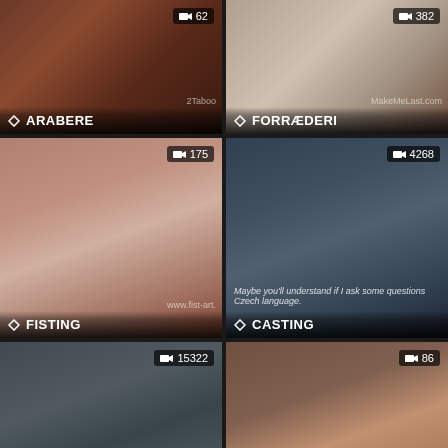[Figure (screenshot): Video thumbnail grid showing adult content category tiles. Row 1: ARABERE (62 videos), FORRÆEDERI (382 videos). Row 2: FISTING (175 videos), CASTING (4268 videos). Row 3: DOBBELT PENETRASJON (15322 videos), TIGHTS (86 videos). Row 4: Two more partially visible thumbnails. Scroll-to-top button visible bottom right.]